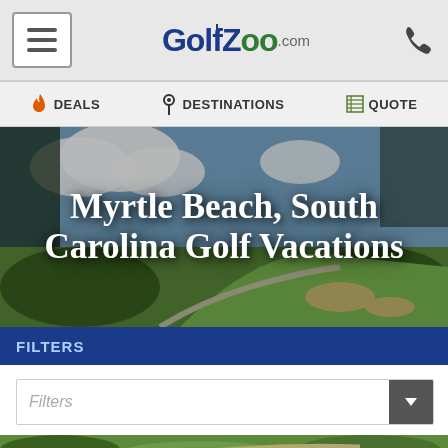GolfZoo.com — navigation header with hamburger menu and phone icon
🔥 DEALS  📍 DESTINATIONS  🟩 QUOTE
[Figure (photo): Aerial/landscape photo of a golf course fairway with trees, clouds, and a winding path]
Myrtle Beach, South Carolina Golf Vacations
FILTERS
Filters (dropdown selector)
[Figure (photo): Bottom strip of golf course photo]
MYRTLE BEACH GOLF
North 5 Star C...